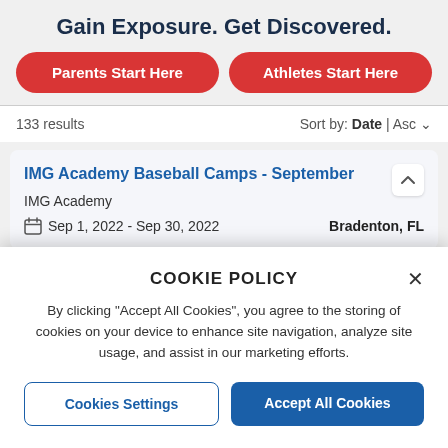Gain Exposure. Get Discovered.
Parents Start Here
Athletes Start Here
133 results
Sort by: Date | Asc
IMG Academy Baseball Camps - September
IMG Academy
Sep 1, 2022 - Sep 30, 2022
Bradenton, FL
COOKIE POLICY
By clicking "Accept All Cookies", you agree to the storing of cookies on your device to enhance site navigation, analyze site usage, and assist in our marketing efforts.
Cookies Settings
Accept All Cookies